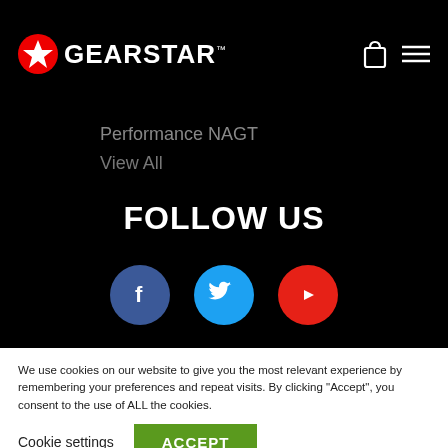GEARSTAR™
Performance NAGT
View All
FOLLOW US
[Figure (infographic): Three social media icon circles: Facebook (blue), Twitter (blue), YouTube (red)]
We use cookies on our website to give you the most relevant experience by remembering your preferences and repeat visits. By clicking "Accept", you consent to the use of ALL the cookies.
Cookie settings   ACCEPT